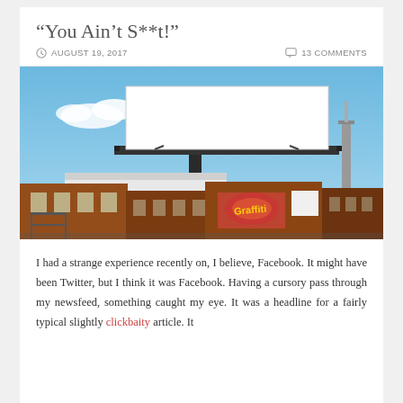“You Ain’t S**t!”
AUGUST 19, 2017   13 COMMENTS
[Figure (photo): Photograph of a large blank white billboard mounted on a metal frame above a row of red-brick urban buildings. Graffiti is visible on one building. Blue sky with white clouds in background.]
I had a strange experience recently on, I believe, Facebook. It might have been Twitter, but I think it was Facebook. Having a cursory pass through my newsfeed, something caught my eye. It was a headline for a fairly typical slightly clickbaity article. It